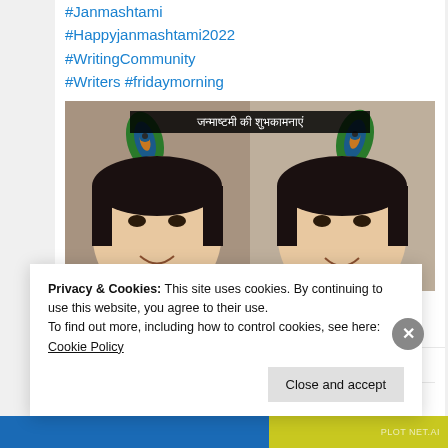#Janmashtami
#Happyjanmashtami2022
#WritingCommunity
#Writers #fridaymorning
[Figure (photo): Social media post image showing two faces of a woman with peacock feather filter/sticker on forehead, Hindi text banner 'जन्माष्टमी की शुभकामनाएं' at the top]
🌱🌻🌿 Deepika🌻🌱🌿 and 2 others
💬   ♡ 5
[Figure (screenshot): Partially visible next post with avatar and emoji icons]
Privacy & Cookies: This site uses cookies. By continuing to use this website, you agree to their use.
To find out more, including how to control cookies, see here: Cookie Policy
Close and accept